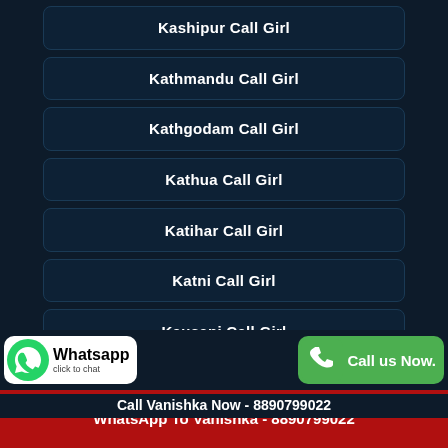Kashipur Call Girl
Kathmandu Call Girl
Kathgodam Call Girl
Kathua Call Girl
Katihar Call Girl
Katni Call Girl
Kausani Call Girl
Kaushambi Call Girl
Whatsapp click to chat
Call us Now.
Call Vanishka Now - 8890799022
WhatsApp To Vanishka - 8890799022